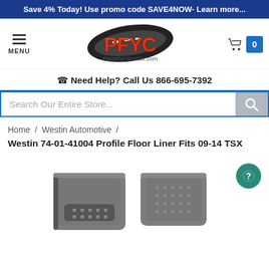Save 4% Today! Use promo code SAVE4NOW- Learn more...
[Figure (logo): PFYC PartsForYourCar.com logo with MENU icon and shopping cart showing 0 items]
Need Help? Call Us 866-695-7392
Search Our Entire Store...
Home / Westin Automotive /
Westin 74-01-41004 Profile Floor Liner Fits 09-14 TSX
[Figure (photo): Two grey rubber floor mat liners for car - Westin Profile Floor Liner product photo]